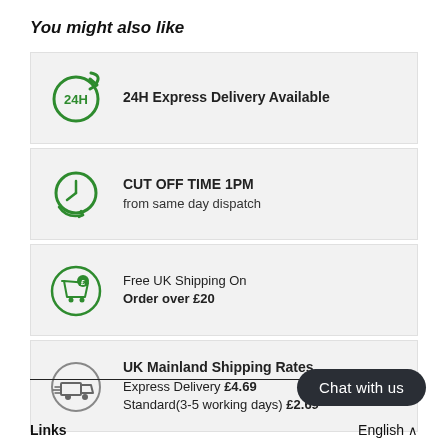You might also like
24H Express Delivery Available
CUT OFF TIME 1PM
from same day dispatch
Free UK Shipping On
Order over £20
UK Mainland Shipping Rates
Express Delivery £4.69
Standard(3-5 working days) £2.69
Chat with us
Links
English